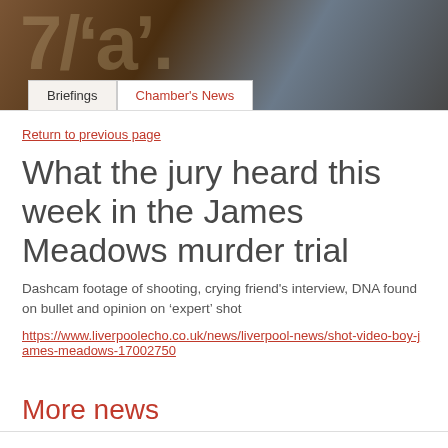[Figure (photo): Header image with dark brown and grey tones, large faint text overlay showing partial letters, navigation tabs at bottom reading 'Briefings' and 'Chamber's News']
Return to previous page
What the jury heard this week in the James Meadows murder trial
Dashcam footage of shooting, crying friend's interview, DNA found on bullet and opinion on ‘expert’ shot
https://www.liverpoolecho.co.uk/news/liverpool-news/shot-video-boy-james-meadows-17002750
More news